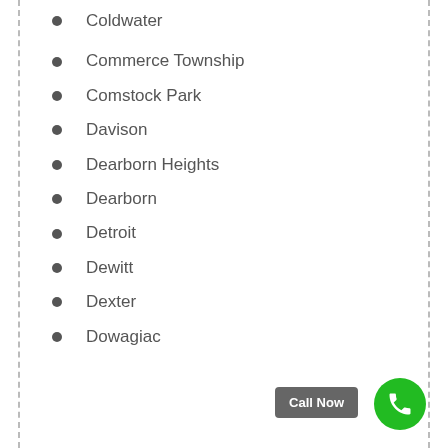Coldwater
Commerce Township
Comstock Park
Davison
Dearborn Heights
Dearborn
Detroit
Dewitt
Dexter
Dowagiac